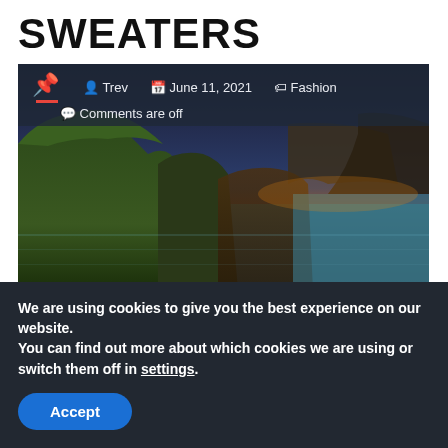SWEATERS
[Figure (photo): Coastal cliffs at sunset with dramatic sky. Metadata overlay shows author Trev, date June 11 2021, category Fashion, and Comments are off.]
Aran Sweaters is one of the most popular clothing items from this island. They are known for their high quality and great fit. The A...
We are using cookies to give you the best experience on our website.
You can find out more about which cookies we are using or switch them off in settings.
Accept